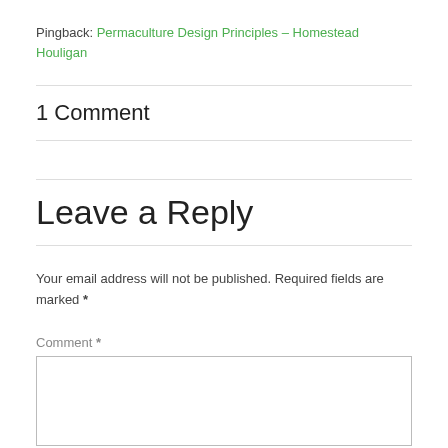Pingback: Permaculture Design Principles – Homestead Houligan
1 Comment
Leave a Reply
Your email address will not be published. Required fields are marked *
Comment *